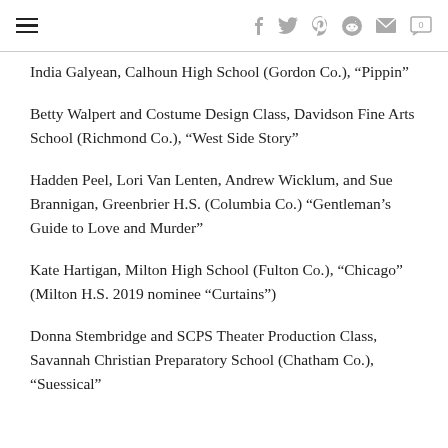Navigation and social sharing bar
India Galyean, Calhoun High School (Gordon Co.), “Pippin”
Betty Walpert and Costume Design Class, Davidson Fine Arts School (Richmond Co.), “West Side Story”
Hadden Peel, Lori Van Lenten, Andrew Wicklum, and Sue Brannigan, Greenbrier H.S. (Columbia Co.) “Gentleman’s Guide to Love and Murder”
Kate Hartigan, Milton High School (Fulton Co.), “Chicago” (Milton H.S. 2019 nominee “Curtains”)
Donna Stembridge and SCPS Theater Production Class, Savannah Christian Preparatory School (Chatham Co.), “Suessical”